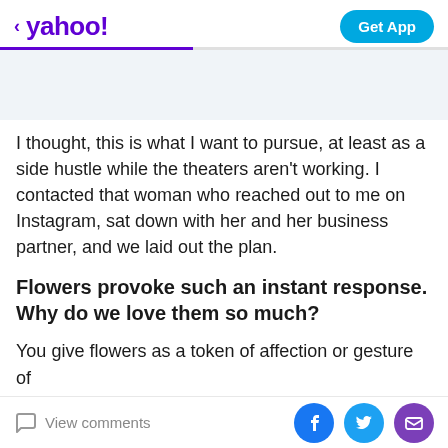< yahoo!   Get App
I thought, this is what I want to pursue, at least as a side hustle while the theaters aren't working. I contacted that woman who reached out to me on Instagram, sat down with her and her business partner, and we laid out the plan.
Flowers provoke such an instant response. Why do we love them so much?
You give flowers as a token of affection or gesture of
View comments